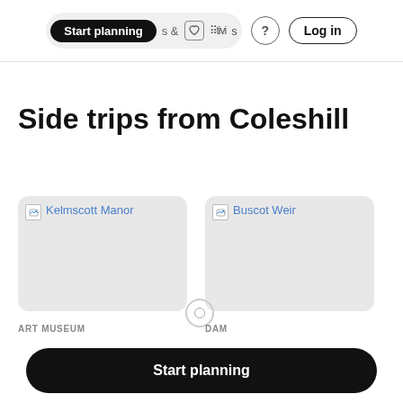Start planning & Activities ? Log in
Side trips from Coleshill
[Figure (screenshot): Broken image placeholder for Kelmscott Manor]
Kelmscott Manor
[Figure (screenshot): Broken image placeholder for Buscot Weir]
Buscot Weir
ART MUSEUM
Kelmscott Manor
DAM
Buscot Weir
Start planning